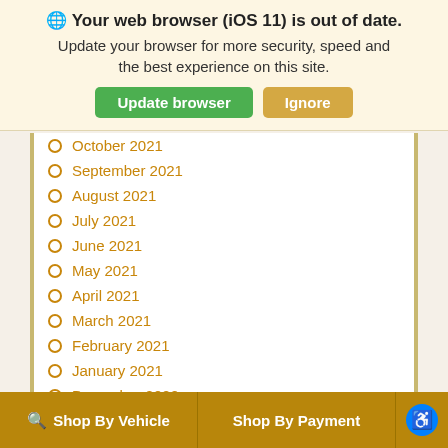🌐 Your web browser (iOS 11) is out of date. Update your browser for more security, speed and the best experience on this site.
October 2021
September 2021
August 2021
July 2021
June 2021
May 2021
April 2021
March 2021
February 2021
January 2021
December 2020
November 2020
October 2020
🔍 Shop By Vehicle   Shop By Payment   ♿